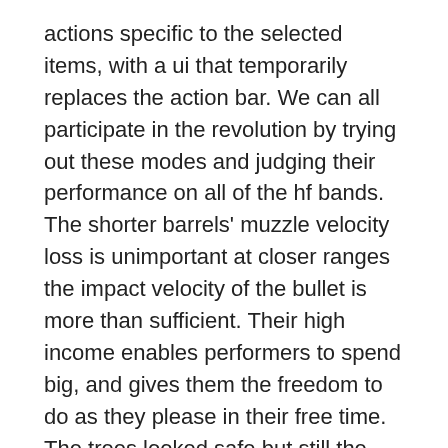actions specific to the selected items, with a ui that temporarily replaces the action bar. We can all participate in the revolution by trying out these modes and judging their performance on all of the hf bands. The shorter barrels' muzzle velocity loss is unimportant at closer ranges the impact velocity of the bullet is more than sufficient. Their high income enables performers to spend big, and gives them the freedom to do as they please in their free time. The trees looked safe but still the feeling worried him. I didn't really know what to expect when i started with ttg, and don't get me wrong, trading is not easy, but this is exactly what i needed to progress, and start to become a real trader. Al l the children how to download free ebooks for kindle who were then trying to humiliate and ridicule hamid now are keen to be friends with him and are satisfied enough if they get the chance to touch his unbeatable and irresistibleaintenance they are and conqueror.